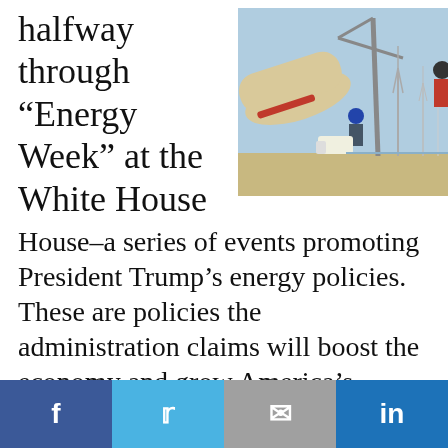halfway through “Energy Week” at the White House
[Figure (photo): Construction workers installing a large wind turbine blade on a coastal site, with cranes and additional wind turbines visible in the background under a blue sky.]
House–a series of events promoting President Trump’s energy policies. These are policies the administration claims will boost the economy and grow America’s energy dominance (note the change from “energy interdependence” to “energy dominance”), while creating jobs by reviving America’s declining coal industry.
Share buttons: Facebook, Twitter, Email, LinkedIn